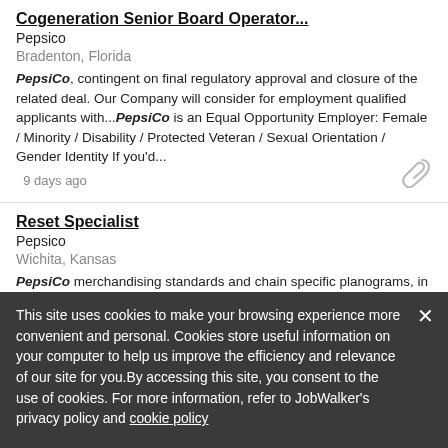Cogeneration Senior Board Operator...
Pepsico
Bradenton, Florida
PepsiCo, contingent on final regulatory approval and closure of the related deal. Our Company will consider for employment qualified applicants with...PepsiCo is an Equal Opportunity Employer: Female / Minority / Disability / Protected Veteran / Sexual Orientation / Gender Identity If you'd...
9 days ago
Reset Specialist
Pepsico
Wichita, Kansas
PepsiCo merchandising standards and chain specific planograms, in smaller accounts like convenience and gas stores, small grocery stores, drug stores...PepsiCo is an Equal
This site uses cookies to make your browsing experience more convenient and personal. Cookies store useful information on your computer to help us improve the efficiency and relevance of our site for you.By accessing this site, you consent to the use of cookies. For more information, refer to JobWalker's privacy policy and cookie policy